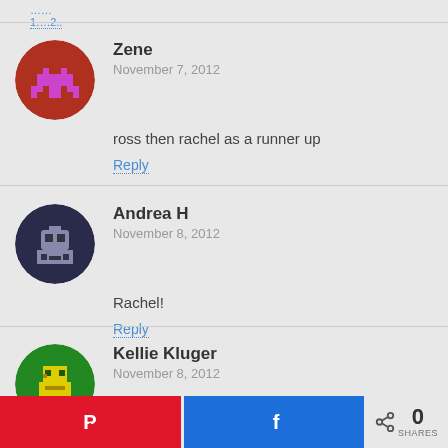……1….2..
Zene
November 7, 2012
ross then rachel as a runner up
Reply
Andrea H
November 8, 2012
Rachel!
Reply
Kellie Kluger
November 8, 2012
I'm most like Rachel, Ross is my runner up
Reply